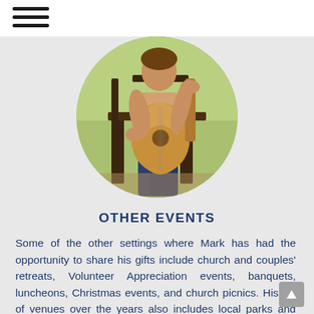[Figure (photo): A person sitting on a chair outdoors playing an acoustic guitar, wearing jeans. The image is cropped in a circular shape with a grassy background.]
OTHER EVENTS
Some of the other settings where Mark has had the opportunity to share his gifts include church and couples' retreats, Volunteer Appreciation events, banquets, luncheons, Christmas events, and church picnics. His list of venues over the years also includes local parks and restaurants, a bowling alley, a roller rink and even a few backyards!!